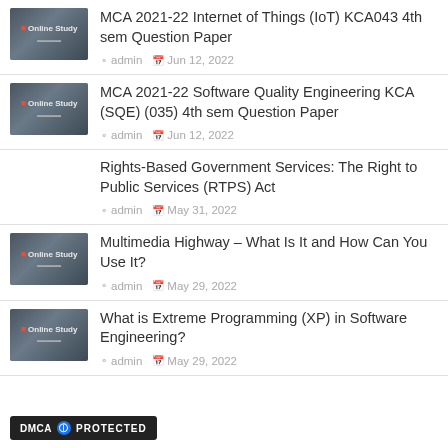MCA 2021-22 Internet of Things (IoT) KCA043 4th sem Question Paper
admin  Jun 12, 2022
MCA 2021-22 Software Quality Engineering KCA (SQE) (035) 4th sem Question Paper
admin  Jun 12, 2022
Rights-Based Government Services: The Right to Public Services (RTPS) Act
admin  May 31, 2022
Multimedia Highway – What Is It and How Can You Use It?
admin  May 29, 2022
What is Extreme Programming (XP) in Software Engineering?
admin  May 29, 2022
DMCA PROTECTED